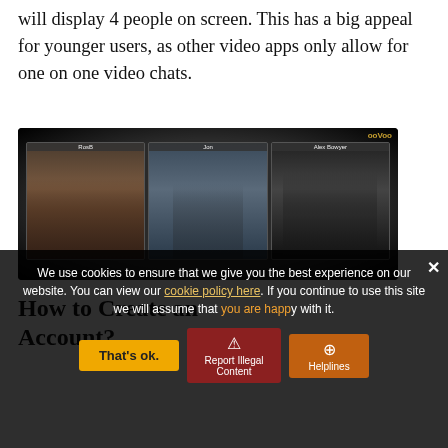will display 4 people on screen. This has a big appeal for younger users, as other video apps only allow for one on one video chats.
[Figure (screenshot): Screenshot of ooVoo video chat application showing three video panels labeled 'RosB', 'Jon', and 'Alex Bowyer' with people visible in each panel, on a dark background.]
How to Create an Account?
We use cookies to ensure that we give you the best experience on our website. You can view our cookie policy here. If you continue to use this site we will assume that you are happy with it.
account, users enter their email details or alternatively to sign-